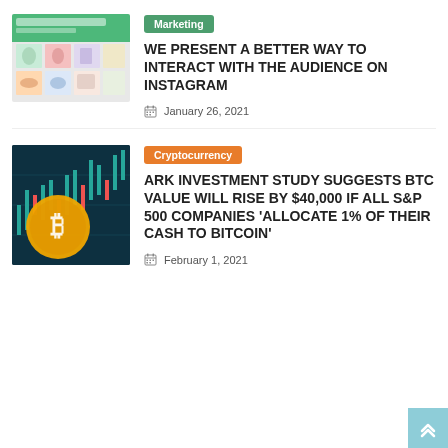[Figure (screenshot): Thumbnail image showing a marketing/Instagram interface with colorful fashion images grid layout on a green background]
Marketing
WE PRESENT A BETTER WAY TO INTERACT WITH THE AUDIENCE ON INSTAGRAM
January 26, 2021
[Figure (photo): Thumbnail photo of Bitcoin gold coins with stock chart candlestick graph in background with teal/blue tones]
Cryptocurrency
ARK INVESTMENT STUDY SUGGESTS BTC VALUE WILL RISE BY $40,000 IF ALL S&P 500 COMPANIES 'ALLOCATE 1% OF THEIR CASH TO BITCOIN'
February 1, 2021